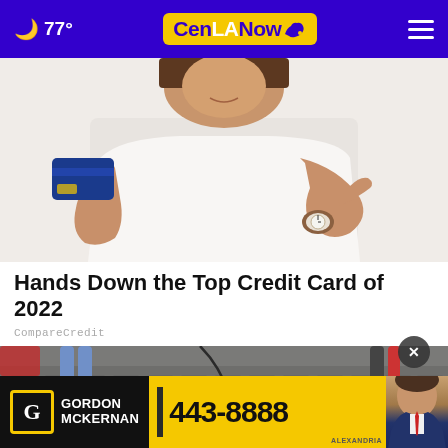🌙 77° CenLA Now [menu]
[Figure (photo): Woman in white shirt holding a blue credit card in one hand and pointing at it with the other hand, wearing a watch.]
Hands Down the Top Credit Card of 2022
CompareCredit
[Figure (photo): Street scene with people walking, close-up of feet and a leashed dog on cobblestone pavement.]
[Figure (photo): Advertisement banner: Gordon McKernan 443-8888]